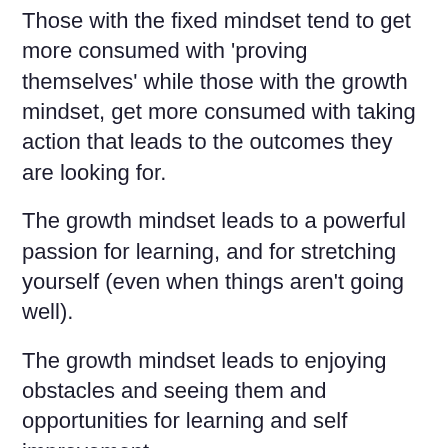Those with the fixed mindset tend to get more consumed with 'proving themselves' while those with the growth mindset, get more consumed with taking action that leads to the outcomes they are looking for.
The growth mindset leads to a powerful passion for learning, and for stretching yourself (even when things aren't going well).
The growth mindset leads to enjoying obstacles and seeing them and opportunities for learning and self improvement.
Become a happiness magnet by unlocking the secret of “Personal Magnetism” and influence other people...